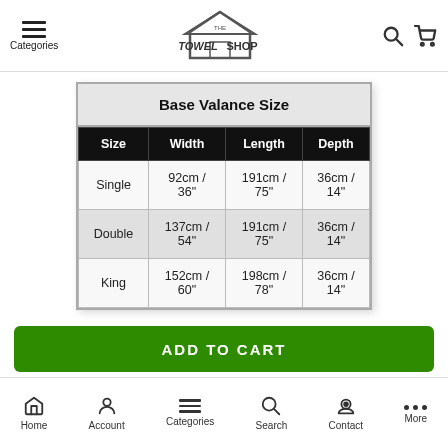Categories | The Towel Shop
| Size | Width | Length | Depth |
| --- | --- | --- | --- |
| Single | 92cm / 36" | 191cm / 75" | 36cm / 14" |
| Double | 137cm / 54" | 191cm / 75" | 36cm / 14" |
| King | 152cm / 60" | 198cm / 78" | 36cm / 14" |
ADD TO CART
Home | Account | Categories | Search | Contact | More